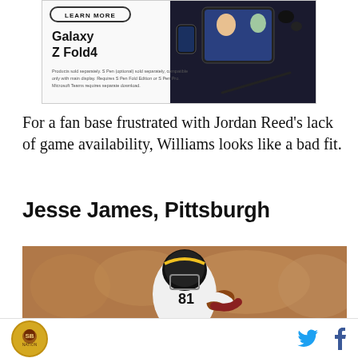[Figure (photo): Samsung Galaxy Z Fold4 advertisement showing the foldable phone with smartwatch and earbuds against a dark background, with persons shown on screen in a video call]
For a fan base frustrated with Jordan Reed’s lack of game availability, Williams looks like a bad fit.
Jesse James, Pittsburgh
[Figure (photo): Pittsburgh Steelers player Jesse James #81 in white uniform running with a football during a game]